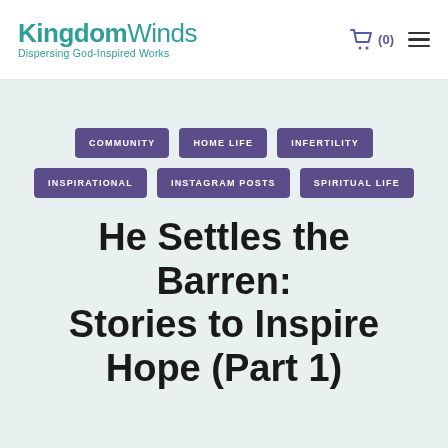KingdomWinds Dispersing God-Inspired Works
COMMUNITY
HOME LIFE
INFERTILITY
INSPIRATIONAL
INSTAGRAM POSTS
SPIRITUAL LIFE
He Settles the Barren: Stories to Inspire Hope (Part 1)